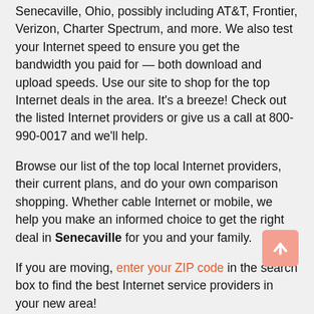Senecaville, Ohio, possibly including AT&T, Frontier, Verizon, Charter Spectrum, and more. We also test your Internet speed to ensure you get the bandwidth you paid for — both download and upload speeds. Use our site to shop for the top Internet deals in the area. It's a breeze! Check out the listed Internet providers or give us a call at 800-990-0017 and we'll help.
Browse our list of the top local Internet providers, their current plans, and do your own comparison shopping. Whether cable Internet or mobile, we help you make an informed choice to get the right deal in Senecaville for you and your family.
If you are moving, enter your ZIP code in the search box to find the best Internet service providers in your new area!
Check out the Best Digital